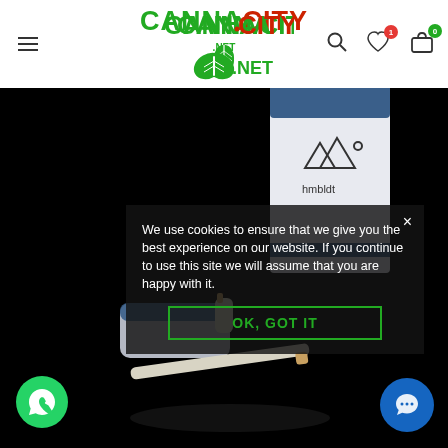[Figure (logo): CannaCity.net logo with green cannabis leaf, green CANNA text, red CITY text, green .NET text]
[Figure (photo): Product photo on black background showing hmbldt branded vape pen and white/blue product box]
We use cookies to ensure that we give you the best experience on our website. If you continue to use this site we will assume that you are happy with it.
OK, GOT IT